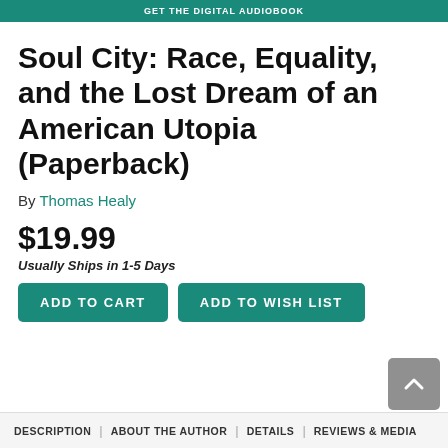GET THE DIGITAL AUDIOBOOK
Soul City: Race, Equality, and the Lost Dream of an American Utopia (Paperback)
By Thomas Healy
$19.99
Usually Ships in 1-5 Days
ADD TO CART  |  ADD TO WISH LIST
DESCRIPTION | ABOUT THE AUTHOR | DETAILS | REVIEWS & MEDIA